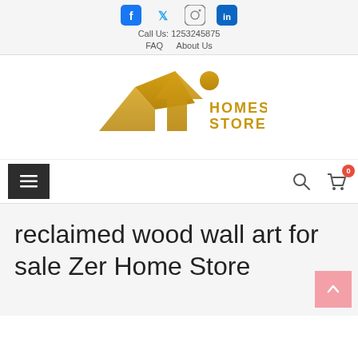Social icons: Facebook, Twitter, Instagram, LinkedIn | Call Us: 1253245875 | FAQ | About Us
[Figure (logo): Homes Store logo with golden roof/mountain peaks icon and circle, text HOMES STORE in gold]
[Figure (screenshot): Navigation bar with hamburger menu on left, search icon and cart icon (badge 0) on right]
reclaimed wood wall art for sale Zer Home Store